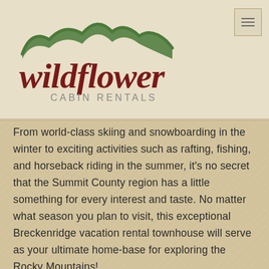[Figure (logo): Wildflower Cabin Rentals logo with green mountain silhouette above cursive dark red 'wildflower' text and 'CABIN RENTALS' in gray caps]
From world-class skiing and snowboarding in the winter to exciting activities such as rafting, fishing, and horseback riding in the summer, it’s no secret that the Summit County region has a little something for every interest and taste. No matter what season you plan to visit, this exceptional Breckenridge vacation rental townhouse will serve as your ultimate home-base for exploring the Rocky Mountains!